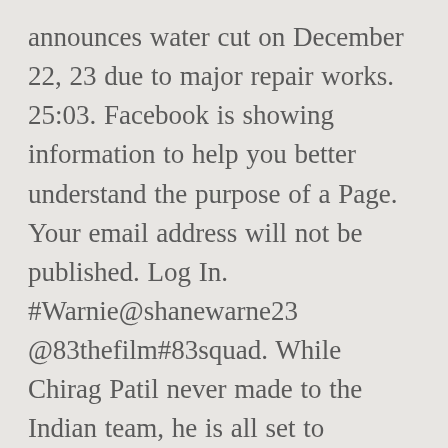announces water cut on December 22, 23 due to major repair works. 25:03. Facebook is showing information to help you better understand the purpose of a Page. Your email address will not be published. Log In. #Warnie@shanewarne23 @83thefilm#83squad. While Chirag Patil never made to the Indian team, he is all set to represent India in Kabir Khan's '83. Ammy Virk's Watchlist by imdb_india_editors | created - 21 May 2019 | updated - 21 May 2019 | Public Refine See titles to watch instantly, titles you haven't rated, etc. Vishnuvardhan (Singer) Death, Height, Weight, Wife, Net Worth & Bio, Yo Yo Honey Singh (Singer) Age,